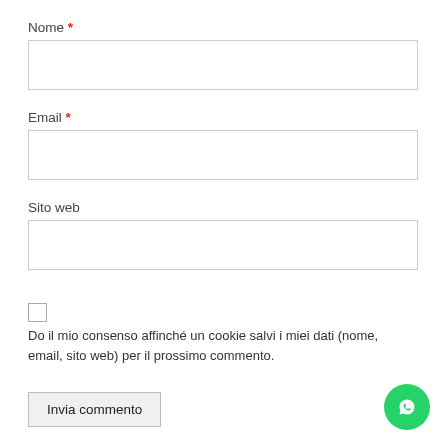Nome *
[Figure (other): Empty text input field for Nome]
Email *
[Figure (other): Empty text input field for Email]
Sito web
[Figure (other): Empty text input field for Sito web]
Do il mio consenso affinché un cookie salvi i miei dati (nome, email, sito web) per il prossimo commento.
Invia commento
[Figure (other): Green WhatsApp floating button in bottom-right corner]